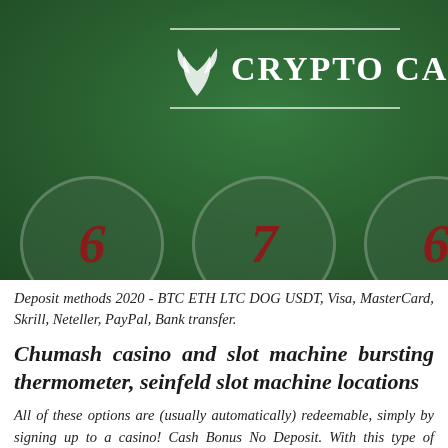[Figure (screenshot): Dark green casino website header image showing 'CRYPTO CA...' logo with decorative floral/leaf icon, two horizontal white lines flanking the text, and three circular coin-like elements at the bottom with red numbers (6, 7, 6) on a green felt background.]
Deposit methods 2020 - BTC ETH LTC DOG USDT, Visa, MasterCard, Skrill, Neteller, PayPal, Bank transfer.
Chumash casino and slot machine bursting thermometer, seinfeld slot machine locations
All of these options are (usually automatically) redeemable, simply by signing up to a casino! Cash Bonus No Deposit. With this type of welcome bonus, once you sign up for a casino account, you'll have some